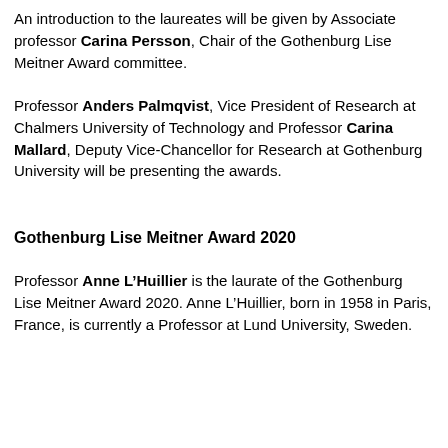<span style="background-color:initial">An introduction to the laureates will be given by Associate professor <strong>Carina Persson</strong>, Chair of the Gothenburg Lise Meitner Award committee.</span></div> <div><span style="background-color:initial"><br /></span></div> <div><span style="background-color:initial">Professor <strong>Anders Palmqvist</strong>, Vice President of Research at </span><span style="background-color:initial">Chalmers University of Technology and Professor <strong>Carina Mallard</strong>, </span><span style="background-color:initial">Deputy Vice-Chancellor for Research at Gothenburg University will be presenting the awards.</span></div> <div> <span style="background-color:initial"><div><br /></div> </span></div> <div><span style="background-color:initial"><br /></span></div> <div style="font-size:16px"><span style="background-color:initial"><strong></strong></span><span style="background-color:initial"><strong>Gothenburg Lise Meitner Award 2020</strong></span></div> <strong> </strong><div><br /></div> <div><img src="/SiteCollectionImages/Centrum/Fysikcentrum/Gothenburg%20 alt="Anne L'Huillier" class="chalmersPosition-FloatRight" style="margin:5px;width:185px;height:167px" />Professor <strong>Anne L'Huillier</strong> is the laurate of the Gothenburg Lise Meitner Award 2020. Anne L'Huillier, born in 1958 in Paris, France, is currently a Professor at Lund University, Sweden.</div>